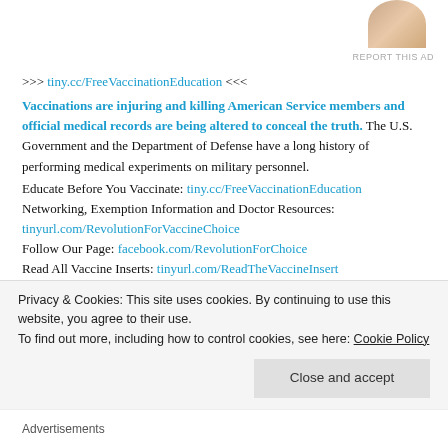[Figure (photo): Partial photo of a person in upper right corner]
REPORT THIS AD
>>> tiny.cc/FreeVaccinationEducation <<<
Vaccinations are injuring and killing American Service members and official medical records are being altered to conceal the truth. The U.S. Government and the Department of Defense have a long history of performing medical experiments on military personnel.
Educate Before You Vaccinate: tiny.cc/FreeVaccinationEducation
Networking, Exemption Information and Doctor Resources:
tinyurl.com/RevolutionForVaccineChoice
Follow Our Page: facebook.com/RevolutionForChoice
Read All Vaccine Inserts: tinyurl.com/ReadTheVaccineInsert
#RevolutionForChoice #InformedConsent #EducateBeforeYouVaccinate #VAXXED #FluVaccine #MedicalExperimentation #Anthrax #FluShot #Flu
Privacy & Cookies: This site uses cookies. By continuing to use this website, you agree to their use.
To find out more, including how to control cookies, see here: Cookie Policy
Close and accept
Advertisements